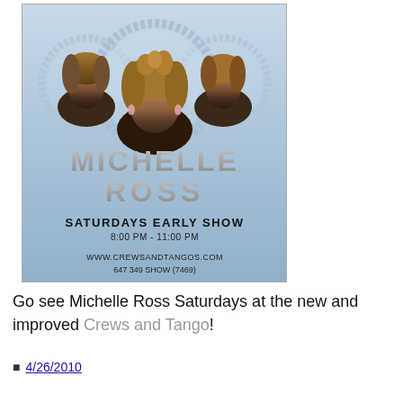[Figure (photo): Promotional poster for Michelle Ross Saturday Early Show at Crews and Tangos. Shows three drag performers in rhinestone-decorated circular frames against a light blue background. Text reads: MICHELLE ROSS, SATURDAYS EARLY SHOW, 8:00 PM - 11:00 PM, www.crewsandtangos.com, 647 349 SHOW (7469).]
Go see Michelle Ross Saturdays at the new and improved Crews and Tango!
4/26/2010